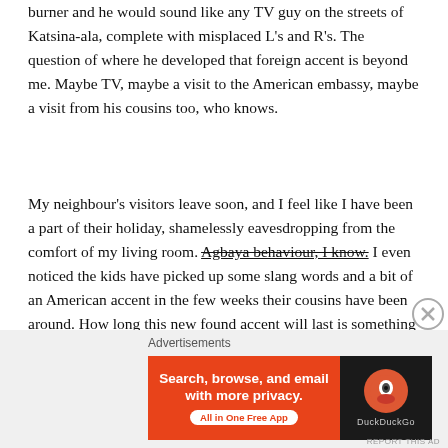burner and he would sound like any TV guy on the streets of Katsina-ala, complete with misplaced L's and R's. The question of where he developed that foreign accent is beyond me. Maybe TV, maybe a visit to the American embassy, maybe a visit from his cousins too, who knows.
My neighbour's visitors leave soon, and I feel like I have been a part of their holiday, shamelessly eavesdropping from the comfort of my living room. Agbaya behaviour, I know. I even noticed the kids have picked up some slang words and a bit of an American accent in the few weeks their cousins have been around. How long this new found accent will last is something I am curious about. I'd be at the window of my living room at the beginning of their next holidays, listening to know if the accent survived weeks of frustrating Nigerian boarding school.
[Figure (other): Advertisement banner: DuckDuckGo app ad with orange background on left reading 'Search, browse, and email with more privacy. All in One Free App' and DuckDuckGo logo on dark right side.]